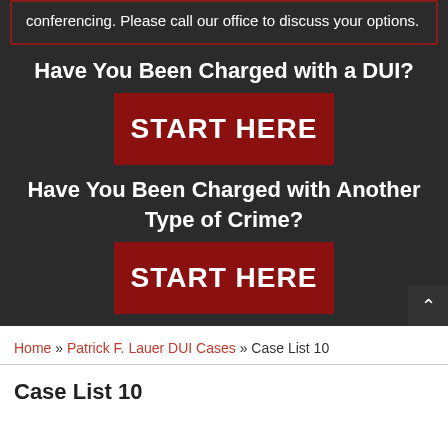conferencing. Please call our office to discuss your options.
Have You Been Charged with a DUI?
[Figure (other): Red button labeled START HERE]
Have You Been Charged with Another Type of Crime?
[Figure (other): Red button labeled START HERE]
Home » Patrick F. Lauer DUI Cases » Case List 10
Case List 10